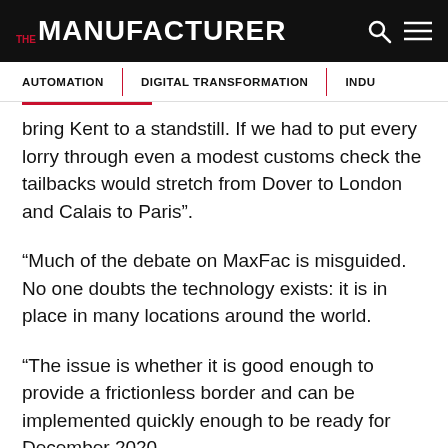THE MANUFACTURER
AUTOMATION | DIGITAL TRANSFORMATION | INDU
bring Kent to a standstill. If we had to put every lorry through even a modest customs check the tailbacks would stretch from Dover to London and Calais to Paris”.
“Much of the debate on MaxFac is misguided. No one doubts the technology exists: it is in place in many locations around the world.
“The issue is whether it is good enough to provide a frictionless border and can be implemented quickly enough to be ready for December 2020.
“I think that the answer to this is an overwhelming no. It